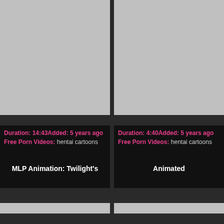[Figure (photo): Gray thumbnail placeholder, top left]
[Figure (photo): Gray thumbnail placeholder, top right]
Duration: 14:43Added: 5 years ago
Free Porn Videos: hentai cartoons
Duration: 4:40Added: 5 years ago
Free Porn Videos: hentai cartoons
MLP Animation: Twilight's
Animated
[Figure (photo): Gray thumbnail placeholder, bottom left]
[Figure (photo): Gray thumbnail placeholder, bottom right]